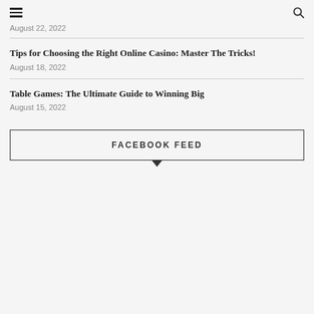August 22, 2022
Tips for Choosing the Right Online Casino: Master The Tricks!
August 18, 2022
Table Games: The Ultimate Guide to Winning Big
August 15, 2022
FACEBOOK FEED